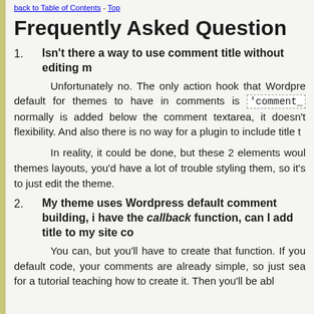back to Table of Contents - Top
Frequently Asked Question
1. Isn't there a way to use comment title without editing m... Unfortunately no. The only action hook that Wordpress default for themes to have in comments is 'comment_... normally is added below the comment textarea, it doesn't... flexibility. And also there is no way for a plugin to include title t... In reality, it could be done, but these 2 elements would... themes layouts, you'd have a lot of trouble styling them, so it's... to just edit the theme.
2. My theme uses Wordpress default comment building, i... have the callback function, can I add title to my site co... You can, but you'll have to create that function. If you... default code, your comments are already simple, so just sea... for a tutorial teaching how to create it. Then you'll be abl...